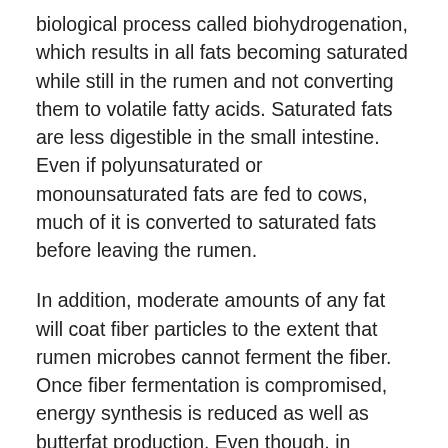biological process called biohydrogenation, which results in all fats becoming saturated while still in the rumen and not converting them to volatile fatty acids. Saturated fats are less digestible in the small intestine. Even if polyunsaturated or monounsaturated fats are fed to cows, much of it is converted to saturated fats before leaving the rumen.
In addition, moderate amounts of any fat will coat fiber particles to the extent that rumen microbes cannot ferment the fiber. Once fiber fermentation is compromised, energy synthesis is reduced as well as butterfat production. Even though, in theory, fats are the most energy-dense of all feeds, for them to provide metabolizable energy, they must be fed in a form that bypasses the rumen and proceeds